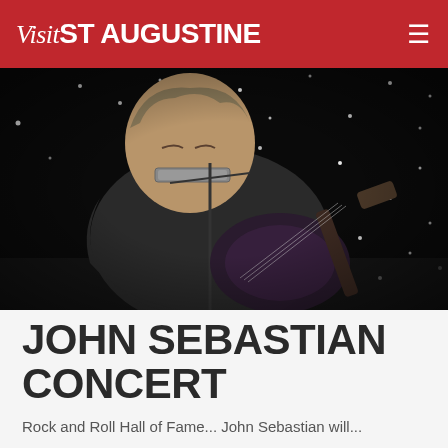Visit St Augustine
[Figure (photo): John Sebastian performing on stage, playing acoustic guitar and harmonica, against a dark starry backdrop]
JOHN SEBASTIAN CONCERT
Rock and Roll Hall of Fame... John Sebastian will...